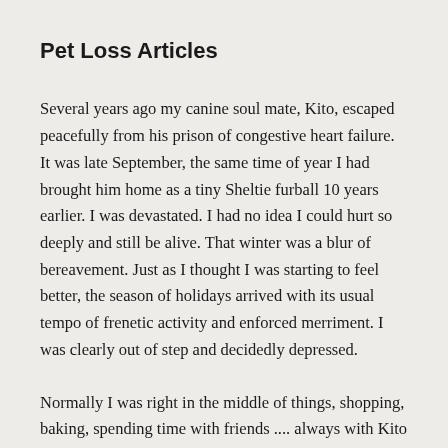Pet Loss Articles
Several years ago my canine soul mate, Kito, escaped peacefully from his prison of congestive heart failure. It was late September, the same time of year I had brought him home as a tiny Sheltie furball 10 years earlier. I was devastated. I had no idea I could hurt so deeply and still be alive. That winter was a blur of bereavement. Just as I thought I was starting to feel better, the season of holidays arrived with its usual tempo of frenetic activity and enforced merriment. I was clearly out of step and decidedly depressed.
Normally I was right in the middle of things, shopping, baking, spending time with friends .... always with Kito by